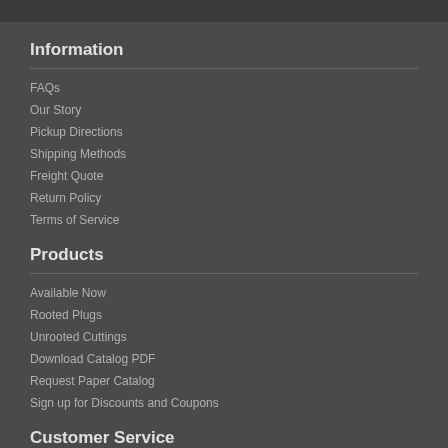Information
FAQs
Our Story
Pickup Directions
Shipping Methods
Freight Quote
Return Policy
Terms of Service
Products
Available Now
Rooted Plugs
Unrooted Cuttings
Download Catalog PDF
Request Paper Catalog
Sign up for Discounts and Coupons
Customer Service